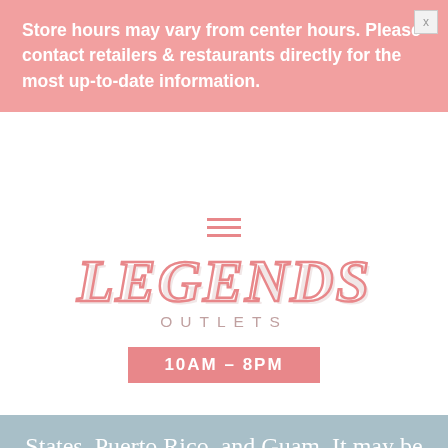Store hours may vary from center hours. Please contact retailers & restaurants directly for the most up-to-date information.
[Figure (other): Hamburger menu icon (three horizontal pink lines)]
[Figure (logo): Legends Outlets logo — large italic serif 'LEGENDS' in pink outline with 'OUTLETS' below in spaced pink letters]
10AM – 8PM
States, Puerto Rico, and Guam. It may be used only once whether or not fully redeemed and must be surrendered at purchase with any remaining value of the Offer forfeited. Not redeemable for store credit or cash. The offers may not be combined with any other